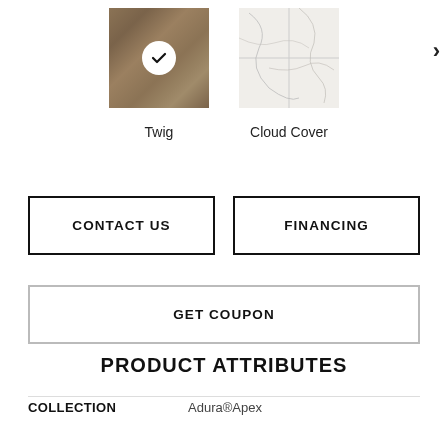[Figure (photo): Wood texture floor tile swatch labeled Twig with a white checkmark circle overlay]
Twig
[Figure (photo): Marble texture tile swatch labeled Cloud Cover]
Cloud Cover
CONTACT US
FINANCING
GET COUPON
PRODUCT ATTRIBUTES
| COLLECTION |  |
| --- | --- |
| COLLECTION | Adura®Apex |